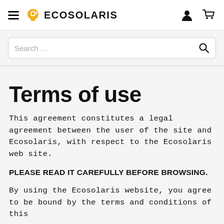ECOSOLARIS
Terms of use
This agreement constitutes a legal agreement between the user of the site and Ecosolaris, with respect to the Ecosolaris web site.
PLEASE READ IT CAREFULLY BEFORE BROWSING.
By using the Ecosolaris website, you agree to be bound by the terms and conditions of this